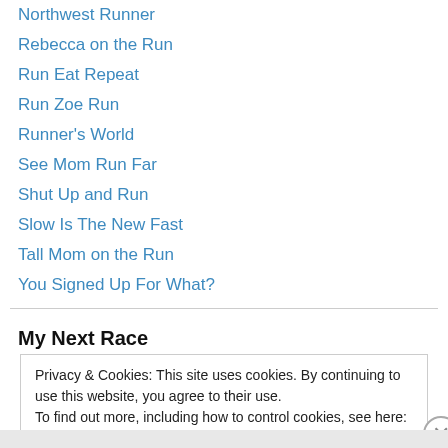Northwest Runner
Rebecca on the Run
Run Eat Repeat
Run Zoe Run
Runner's World
See Mom Run Far
Shut Up and Run
Slow Is The New Fast
Tall Mom on the Run
You Signed Up For What?
My Next Race
Privacy & Cookies: This site uses cookies. By continuing to use this website, you agree to their use.
To find out more, including how to control cookies, see here: Cookie Policy